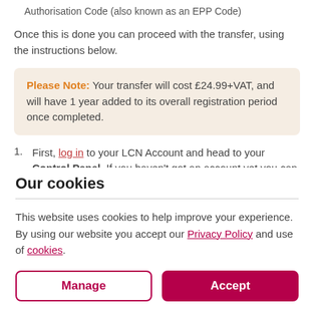Authorisation Code (also known as an EPP Code)
Once this is done you can proceed with the transfer, using the instructions below.
Please Note: Your transfer will cost £24.99+VAT, and will have 1 year added to its overall registration period once completed.
1. First, log in to your LCN Account and head to your Control Panel. If you haven't got an account yet you can create
Our cookies
This website uses cookies to help improve your experience. By using our website you accept our Privacy Policy and use of cookies.